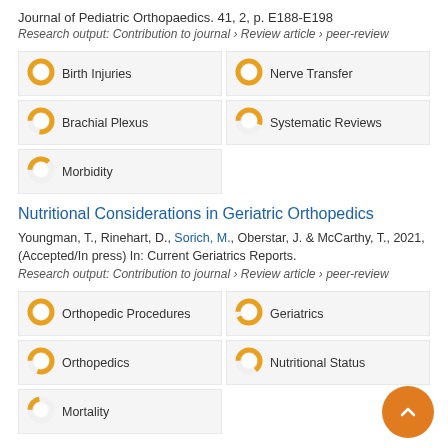Journal of Pediatric Orthopaedics. 41, 2, p. E188-E198
Research output: Contribution to journal › Review article › peer-review
[Figure (infographic): Five keyword badges with donut chart percentage indicators: Birth Injuries (100%), Nerve Transfer (100%), Brachial Plexus (~77%), Systematic Reviews (~55%), Morbidity (~37%)]
Nutritional Considerations in Geriatric Orthopedics
Youngman, T., Rinehart, D., Sorich, M., Oberstar, J. & McCarthy, T., 2021, (Accepted/In press) In: Current Geriatrics Reports.
Research output: Contribution to journal › Review article › peer-review
[Figure (infographic): Five keyword badges with donut chart percentage indicators: Orthopedic Procedures (100%), Geriatrics (~93%), Orthopedics (~80%), Nutritional Status (~65%), Mortality (~22%)]